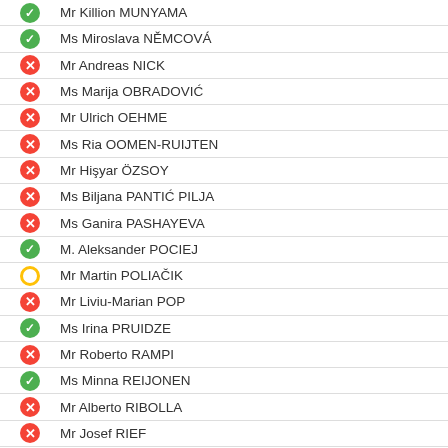Mr Killion MUNYAMA
Ms Miroslava NĚMCOVÁ
Mr Andreas NICK
Ms Marija OBRADOVIĆ
Mr Ulrich OEHME
Ms Ria OOMEN-RUIJTEN
Mr Hişyar ÖZSOY
Ms Biljana PANTIĆ PILJA
Ms Ganira PASHAYEVA
M. Aleksander POCIEJ
Mr Martin POLIAČIK
Mr Liviu-Marian POP
Ms Irina PRUIDZE
Mr Roberto RAMPI
Ms Minna REIJONEN
Mr Alberto RIBOLLA
Mr Josef RIEF